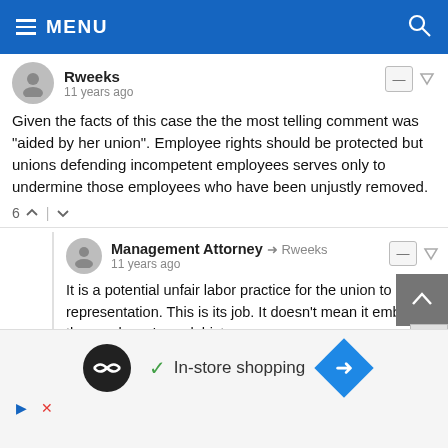MENU
Rweeks
11 years ago
Given the facts of this case the the most telling comment was "aided by her union".  Employee rights should be protected but unions defending incompetent employees serves only to undermine those employees who have been unjustly removed.
6
Management Attorney → Rweeks
11 years ago
It is a potential unfair labor practice for the union to refuse representation.   This is its job.  It doesn't mean it embraces the employee's work history.
[Figure (infographic): Advertisement bar with circular logo, checkmark, 'In-store shopping' text, and blue diamond navigation icon]
In-store shopping